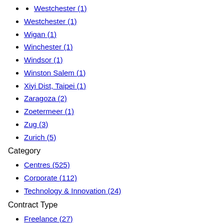Westchester (1)
Wigan (1)
Winchester (1)
Windsor (1)
Winston Salem (1)
Xiyi Dist, Taipei (1)
Zaragoza (2)
Zoetermeer (1)
Zug (3)
Zurich (5)
Category
Centres (525)
Corporate (112)
Technology & Innovation (24)
Contract Type
Freelance (27)
Permanent (841)
Fixed Term (104)
Contract (18)
More Filters